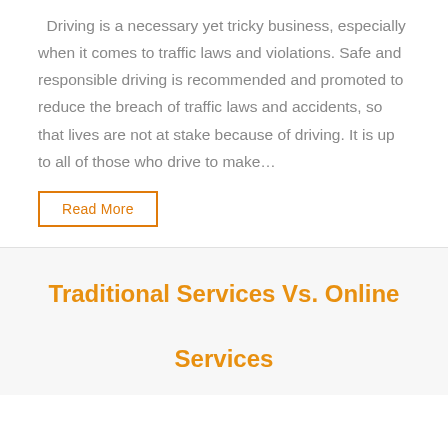Driving is a necessary yet tricky business, especially when it comes to traffic laws and violations. Safe and responsible driving is recommended and promoted to reduce the breach of traffic laws and accidents, so that lives are not at stake because of driving. It is up to all of those who drive to make…
Read More
Traditional Services Vs. Online Services